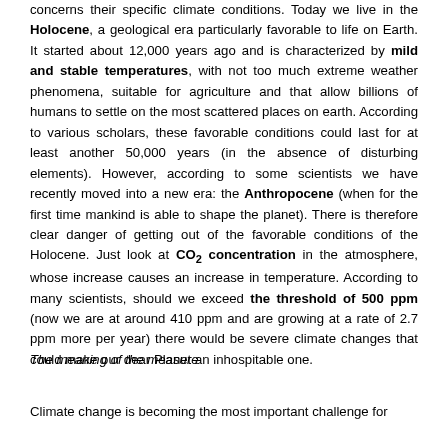concerns their specific climate conditions. Today we live in the Holocene, a geological era particularly favorable to life on Earth. It started about 12,000 years ago and is characterized by mild and stable temperatures, with not too much extreme weather phenomena, suitable for agriculture and that allow billions of humans to settle on the most scattered places on earth. According to various scholars, these favorable conditions could last for at least another 50,000 years (in the absence of disturbing elements). However, according to some scientists we have recently moved into a new era: the Anthropocene (when for the first time mankind is able to shape the planet). There is therefore clear danger of getting out of the favorable conditions of the Holocene. Just look at CO2 concentration in the atmosphere, whose increase causes an increase in temperature. According to many scientists, should we exceed the threshold of 500 ppm (now we are at around 410 ppm and are growing at a rate of 2.7 ppm more per year) there would be severe climate changes that could make our dear Planet an inhospitable one.
The meaning of the measure
Climate change is becoming the most important challenge for